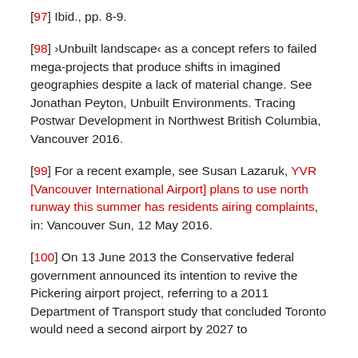[97] Ibid., pp. 8-9.
[98] ›Unbuilt landscape‹ as a concept refers to failed mega-projects that produce shifts in imagined geographies despite a lack of material change. See Jonathan Peyton, Unbuilt Environments. Tracing Postwar Development in Northwest British Columbia, Vancouver 2016.
[99] For a recent example, see Susan Lazaruk, YVR [Vancouver International Airport] plans to use north runway this summer has residents airing complaints, in: Vancouver Sun, 12 May 2016.
[100] On 13 June 2013 the Conservative federal government announced its intention to revive the Pickering airport project, referring to a 2011 Department of Transport study that concluded Toronto would need a second airport by 2027 to